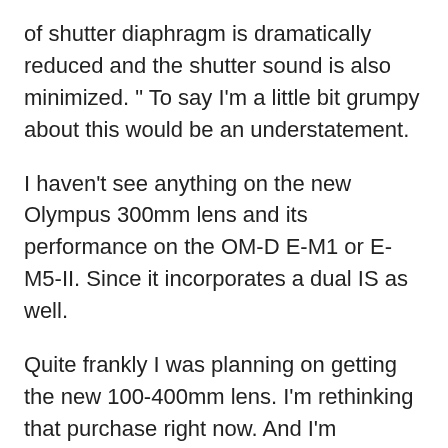of shutter diaphragm is dramatically reduced and the shutter sound is also minimized. " To say I'm a little bit grumpy about this would be an understatement.
I haven't see anything on the new Olympus 300mm lens and its performance on the OM-D E-M1 or E-M5-II. Since it incorporates a dual IS as well.
Quite frankly I was planning on getting the new 100-400mm lens. I'm rethinking that purchase right now. And I'm rethinking the anticipated GH5 purchase when it is released.
As always i look forward to your posts. I find them informative and helpful